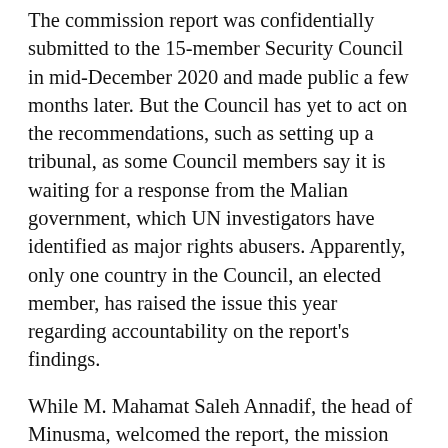The commission report was confidentially submitted to the 15-member Security Council in mid-December 2020 and made public a few months later. But the Council has yet to act on the recommendations, such as setting up a tribunal, as some Council members say it is waiting for a response from the Malian government, which UN investigators have identified as major rights abusers. Apparently, only one country in the Council, an elected member, has raised the issue this year regarding accountability on the report's findings.
While M. Mahamat Saleh Annadif, the head of Minusma, welcomed the report, the mission and other significant global bodies, such as the International Committee of the Red Cross, have remained largely silent about the number of civilian casualties that have
[Figure (other): Social sharing buttons row: Facebook (blue), Twitter (light blue), LinkedIn (blue), Telegram (cyan)]